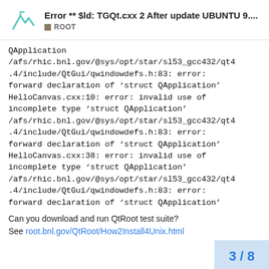Error ** $ld: TGQt.cxx 2 After update UBUNTU 9.... ROOT
QApplication
/afs/rhic.bnl.gov/@sys/opt/star/sl53_gcc432/qt4.4/include/QtGui/qwindowdefs.h:83: error: forward declaration of 'struct QApplication'
HelloCanvas.cxx:10: error: invalid use of incomplete type 'struct QApplication'
/afs/rhic.bnl.gov/@sys/opt/star/sl53_gcc432/qt4.4/include/QtGui/qwindowdefs.h:83: error: forward declaration of 'struct QApplication'
HelloCanvas.cxx:38: error: invalid use of incomplete type 'struct QApplication'
/afs/rhic.bnl.gov/@sys/opt/star/sl53_gcc432/qt4.4/include/QtGui/qwindowdefs.h:83: error: forward declaration of 'struct QApplication'
Can you download and run QtRoot test suite?
See root.bnl.gov/QtRoot/How2Install4Unix.html
3 / 8